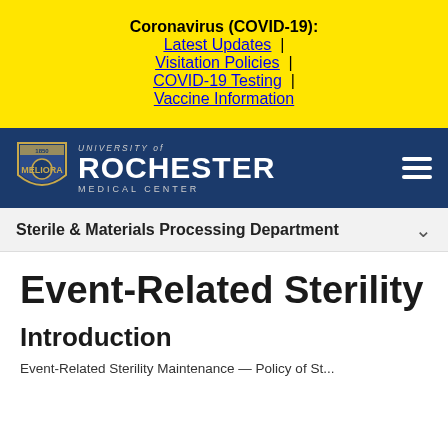Coronavirus (COVID-19):
Latest Updates |
Visitation Policies |
COVID-19 Testing |
Vaccine Information
[Figure (logo): University of Rochester Medical Center logo with shield emblem on navy blue navigation bar]
Sterile & Materials Processing Department
Event-Related Sterility
Introduction
Event-Related Sterility Maintenance — Policy of St...